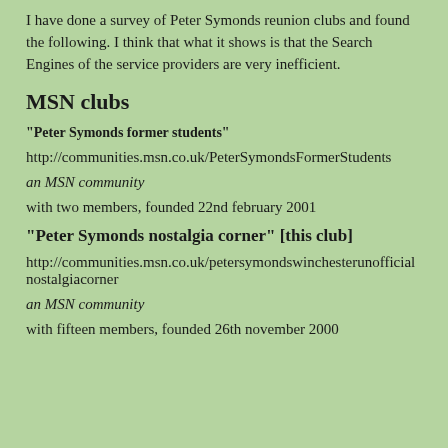I have done a survey of Peter Symonds reunion clubs and found the following. I think that what it shows is that the Search Engines of the service providers are very inefficient.
MSN clubs
"Peter Symonds former students"
http://communities.msn.co.uk/PeterSymondsFormerStudents
an MSN community
with two members, founded 22nd february 2001
"Peter Symonds nostalgia corner" [this club]
http://communities.msn.co.uk/petersymondswinchesterunofficialnostalgiacorner
an MSN community
with fifteen members, founded 26th november 2000